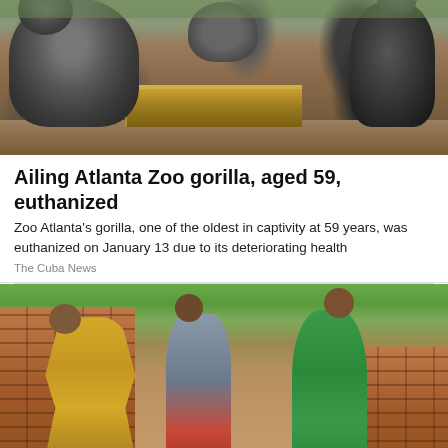[Figure (photo): Photo of gorillas at Zoo Atlanta, showing large gorillas near a wooden enclosure with dirt ground]
Ailing Atlanta Zoo gorilla, aged 59, euthanized
Zoo Atlanta's gorilla, one of the oldest in captivity at 59 years, was euthanized on January 13 due to its deteriorating health
The Cuba News
[Figure (photo): Photo of people working with bricks, stacking red bricks with green trees in background]